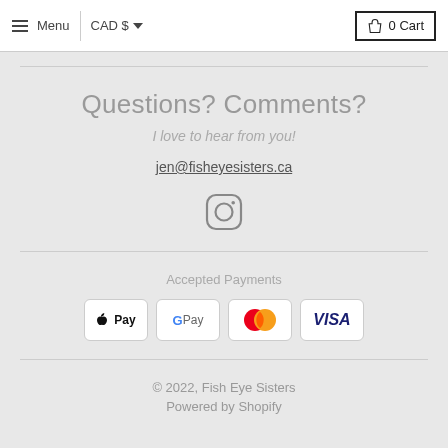Menu  |  CAD $  ▾   0 Cart
Questions? Comments?
I love to hear from you!
jen@fisheyesisters.ca
[Figure (illustration): Instagram logo icon (rounded square with circle inside and dot)]
Accepted Payments
[Figure (illustration): Payment method badges: Apple Pay, G Pay, Mastercard, Visa]
© 2022, Fish Eye Sisters
Powered by Shopify